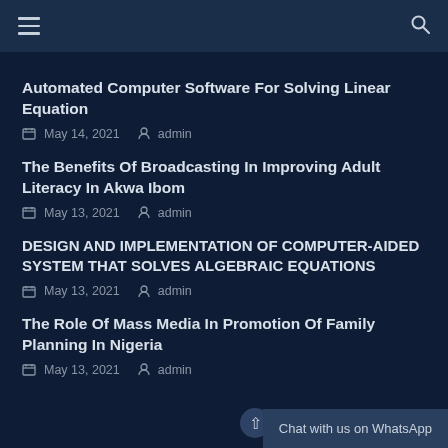Navigation bar with hamburger menu and search icon
Automated Computer Software For Solving Linear Equation
May 14, 2021   admin
The Benefits Of Broadcasting In Improving Adult Literacy In Akwa Ibom
May 13, 2021   admin
DESIGN AND IMPLEMENTATION OF COMPUTER-AIDED SYSTEM THAT SOLVES ALGEBRAIC EQUATIONS
May 13, 2021   admin
The Role Of Mass Media In Promotion Of Family Planning In Nigeria
May 13, 2021   admin
Chat with us on WhatsApp